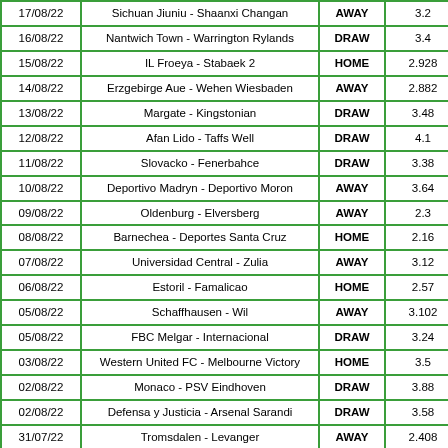| Date | Match | Result | Odds |
| --- | --- | --- | --- |
| 17/08/22 | Sichuan Jiuniu - Shaanxi Changan | AWAY | 3.2 |
| 16/08/22 | Nantwich Town - Warrington Rylands | DRAW | 3.4 |
| 15/08/22 | IL Froeya - Stabaek 2 | HOME | 2.928 |
| 14/08/22 | Erzgebirge Aue - Wehen Wiesbaden | AWAY | 2.882 |
| 13/08/22 | Margate - Kingstonian | DRAW | 3.48 |
| 12/08/22 | Afan Lido - Taffs Well | DRAW | 4.1 |
| 11/08/22 | Slovacko - Fenerbahce | DRAW | 3.38 |
| 10/08/22 | Deportivo Madryn - Deportivo Moron | AWAY | 3.64 |
| 09/08/22 | Oldenburg - Elversberg | AWAY | 2.3 |
| 08/08/22 | Barnechea - Deportes Santa Cruz | HOME | 2.16 |
| 07/08/22 | Universidad Central - Zulia | AWAY | 3.12 |
| 06/08/22 | Estoril - Famalicao | HOME | 2.57 |
| 05/08/22 | Schaffhausen - Wil | AWAY | 3.102 |
| 05/08/22 | FBC Melgar - Internacional | DRAW | 3.24 |
| 03/08/22 | Western United FC - Melbourne Victory | HOME | 3.5 |
| 02/08/22 | Monaco - PSV Eindhoven | DRAW | 3.88 |
| 02/08/22 | Defensa y Justicia - Arsenal Sarandi | DRAW | 3.58 |
| 31/07/22 | Tromsdalen - Levanger | AWAY | 2.408 |
| 30/07/22 | Ujpest - Mezokovesd SE | DRAW | 3.66 |